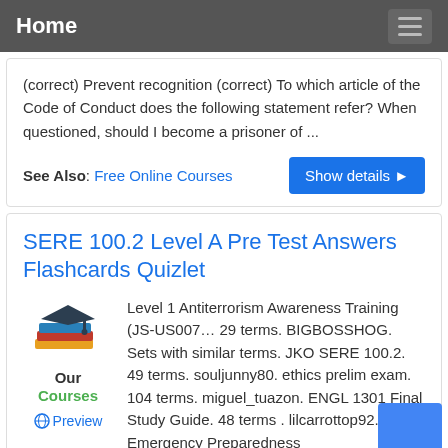Home
(correct) Prevent recognition (correct) To which article of the Code of Conduct does the following statement refer? When questioned, should I become a prisoner of ...
See Also: Free Online Courses
SERE 100.2 Level A Pre Test Answers Flashcards Quizlet
Level 1 Antiterrorism Awareness Training (JS-US007… 29 terms. BIGBOSSHOG. Sets with similar terms. JKO SERE 100.2. 49 terms. souljunny80. ethics prelim exam. 104 terms. miguel_tuazon. ENGL 1301 Final Study Guide. 48 terms . lilcarrottop92. Emergency Preparedness